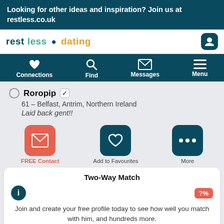Looking for other ideas and inspiration? Join us at restless.co.uk
[Figure (logo): Rest Less Dating logo with navigation bar]
Roropip
61 – Belfast, Antrim, Northern Ireland
Laid back gent!!
FREE Contact | Add to Favourites | More
Two-Way Match
Join and create your free profile today to see how well you match with him, and hundreds more.
Join now